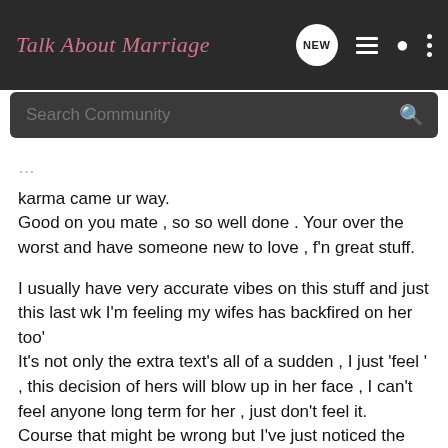Talk About Marriage
Search Community
karma came ur way.
Good on you mate , so so well done . Your over the worst and have someone new to love , f'n great stuff.
I usually have very accurate vibes on this stuff and just this last wk I'm feeling my wifes has backfired on her too'
It's not only the extra text's all of a sudden , I just 'feel ' , this decision of hers will blow up in her face , I can't feel anyone long term for her , just don't feel it.
Course that might be wrong but I've just noticed the feeling coming in and that's usually how it works for me.
Problem for me is I felt her coming , I even knew when I'd meet her so I started doing all this stuff before I got tied down. Thing is I don't feel anything/one , coming to me either this time.